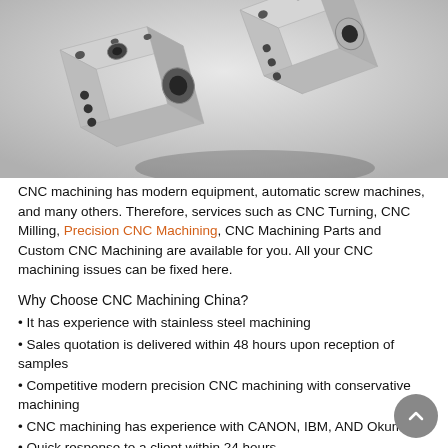[Figure (photo): Photograph of precision CNC machined metal parts — two silver/gray metal blocks with holes and bores, arranged on a light gray background.]
CNC machining has modern equipment, automatic screw machines, and many others. Therefore, services such as CNC Turning, CNC Milling, Precision CNC Machining, CNC Machining Parts and Custom CNC Machining are available for you. All your CNC machining issues can be fixed here.
Why Choose CNC Machining China?
• It has experience with stainless steel machining
• Sales quotation is delivered within 48 hours upon reception of samples
• Competitive modern precision CNC machining with conservative machining
• CNC machining has experience with CANON, IBM, AND Okuma
• Quick response to a client within 24 hours